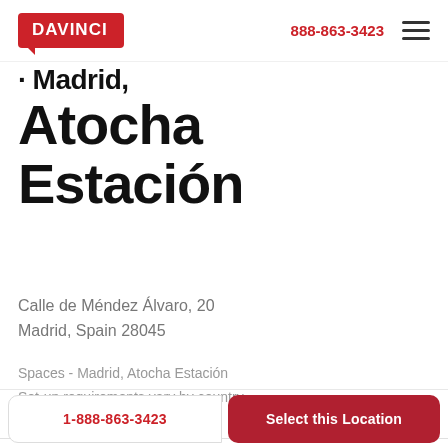DAVINCI  888-863-3423
· Madrid, Atocha Estación
Calle de Méndez Álvaro, 20
Madrid, Spain 28045
Spaces - Madrid, Atocha Estación
Set-up requirements vary by country
Minimum 6 month term applies
Promo: $73/mo USD
$199 One-time Setup Fee
1-888-863-3423
Select this Location